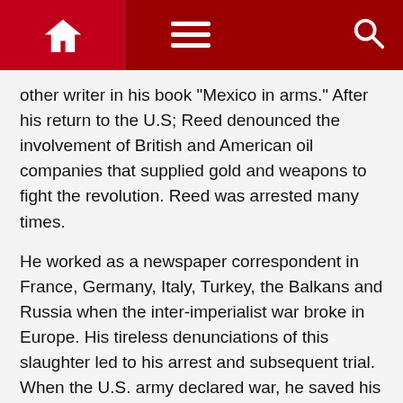Navigation bar with home, menu, and search icons
other writer in his book "Mexico in arms." After his return to the U.S; Reed denounced the involvement of British and American oil companies that supplied gold and weapons to fight the revolution. Reed was arrested many times.
He worked as a newspaper correspondent in France, Germany, Italy, Turkey, the Balkans and Russia when the inter-imperialist war broke in Europe. His tireless denunciations of this slaughter led to his arrest and subsequent trial. When the U.S. army declared war, he saved his life by avoiding the draft due to a kidney removal.
Ironically he would say that although the surgery “may release him to be a participant in the war between two nations. I am not exempt to participate in the class